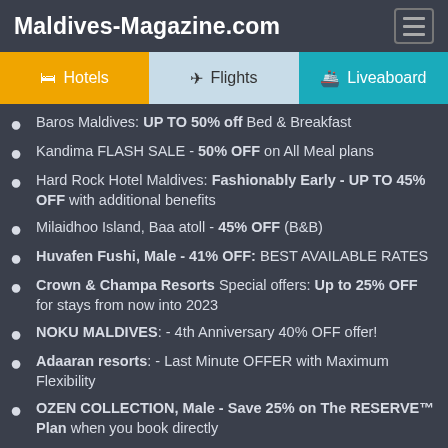Maldives-Magazine.com
Baros Maldives: UP TO 50% off Bed & Breakfast
Kandima FLASH SALE - 50% OFF on All Meal plans
Hard Rock Hotel Maldives: Fashionably Early - UP TO 45% OFF with additional benefits
Milaidhoo Island, Baa atoll - 45% OFF (B&B)
Huvafen Fushi, Male - 41% OFF: BEST AVAILABLE RATES
Crown & Champa Resorts Special offers: Up to 25% OFF for stays from now into 2023
NOKU MALDIVES: - 4th Anniversary 40% OFF offer!
Adaaran resorts: - Last Minute OFFER with Maximum Flexibility
OZEN COLLECTION, Male - Save 25% on The RESERVE™ Plan when you book directly
Kuramathi Getaway: with Complimentary Meal Upgrade